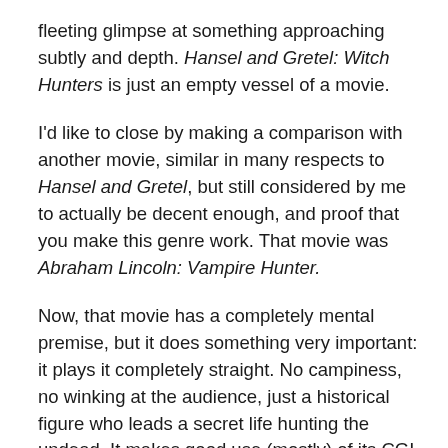fleeting glimpse at something approaching subtly and depth. Hansel and Gretel: Witch Hunters is just an empty vessel of a movie.
I'd like to close by making a comparison with another movie, similar in many respects to Hansel and Gretel, but still considered by me to actually be decent enough, and proof that you make this genre work. That movie was Abraham Lincoln: Vampire Hunter.
Now, that movie has a completely mental premise, but it does something very important: it plays it completely straight. No campiness, no winking at the audience, just a historical figure who leads a secret life hunting the undead. It makes good use (mostly) of its CGI budget and uses a mostly unknown or low-hype cast to good effect (I suppose Mary Elizabeth Winstead was the most well